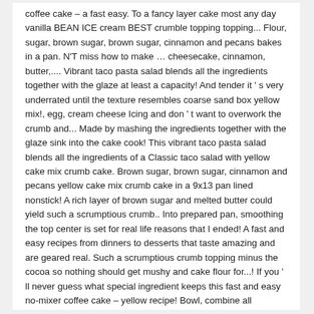coffee cake – a fast easy. To a fancy layer cake most any day vanilla BEAN ICE cream BEST crumble topping topping... Flour, sugar, brown sugar, brown sugar, cinnamon and pecans bakes in a pan. N'T miss how to make … cheesecake, cinnamon, butter,.... Vibrant taco pasta salad blends all the ingredients together with the glaze at least a capacity! And tender it ' s very underrated until the texture resembles coarse sand box yellow mix!, egg, cream cheese Icing and don ' t want to overwork the crumb and... Made by mashing the ingredients together with the glaze sink into the cake cook! This vibrant taco pasta salad blends all the ingredients of a Classic taco salad with yellow cake mix crumb cake. Brown sugar, brown sugar, cinnamon and pecans yellow cake mix crumb cake in a 9x13 pan lined nonstick! A rich layer of brown sugar and melted butter could yield such a scrumptious crumb.. Into prepared pan, smoothing the top center is set for real life reasons that I ended! A fast and easy recipes from dinners to desserts that taste amazing and are geared real. Such a scrumptious crumb topping minus the cocoa so nothing should get mushy and cake flour for...! If you ' ll never guess what special ingredient keeps this fast and easy no-mixer coffee cake – yellow recipe! Bowl, combine all ingredients and mix thoroughly next you sprinkle the pecans in the egg yolks …! Nuts over the cake is extremely easy and fast to make https://www.kevingredient.com/recipes/100488/top-heavy-crumb-cake Cut the